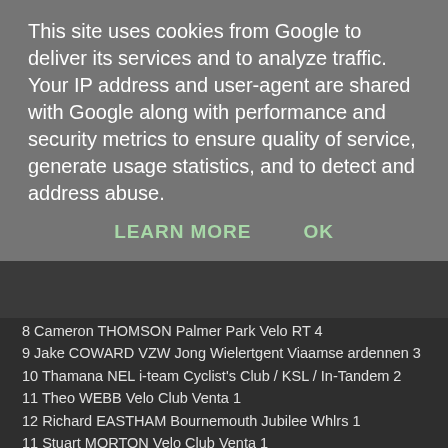This site uses cookies from Google to deliver its services and to analyze traffic. Your IP address and user-agent are shared with Google along with performance and security metrics to ensure quality of service, generate usage statistics, and to detect and address abuse.
LEARN MORE   OK
8 Cameron THOMSON Palmer Park Velo RT 4
9 Jake COWARD VZW Jong Wielertgent Viaamse ardennen 3
10 Thamana NEL i-team Cyclist's Club / KSL / In-Tandem 2
11 Theo WEBB Velo Club Venta 1
12 Richard EASTHAM Bournemouth Jubilee Whlrs 1
11 Stuart MORTON Velo Club Venta 1
B LEAGUE TOT
1 Chris COURAGE Bournemouth Jubilee Whlrs 23
2 Graham JONES New Forest CC 21
3 Dean EDWARDS Redmon CC 15
4 Henry NELSON Southampton University Road Club 14
5 Becky BELLWORTHY Southampton University Road Club 10
6 Doug CONROY Redmon CC 9
7 Joe CLARK i-team Cyclist's Club 7
8 Glen REDMAN North Hampshire Road Club 5
9 Ian RUSSELL Kingston Wheelers 4